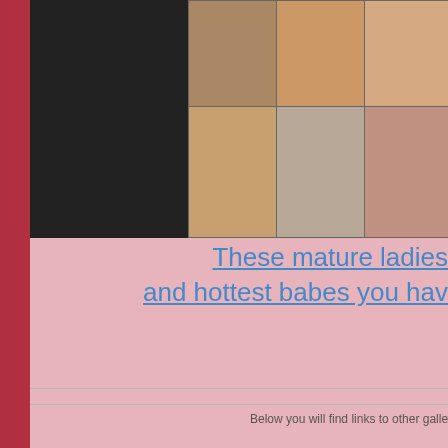[Figure (photo): Grid of adult content thumbnail photos arranged in two rows]
These mature ladies and hottest babes you hav...
Below you will find links to other galleries on topics of our website : ma...
[Figure (illustration): Candle holder illustration with multiple lit candles]
The best photo from mature b...
[Figure (photo): Bathroom/tiled area photo]